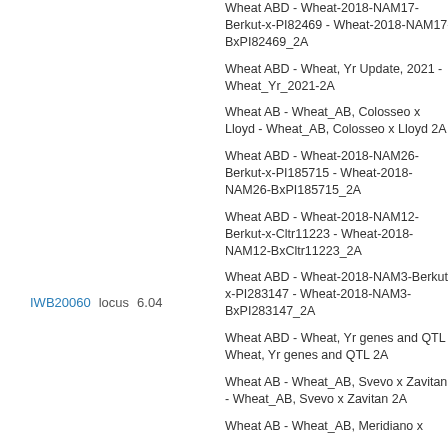Wheat ABD - Wheat-2018-NAM17-Berkut-x-PI82469 - Wheat-2018-NAM17-BxPI82469_2A
Wheat ABD - Wheat, Yr Update, 2021 - Wheat_Yr_2021-2A
Wheat AB - Wheat_AB, Colosseo x Lloyd - Wheat_AB, Colosseo x Lloyd 2A
Wheat ABD - Wheat-2018-NAM26-Berkut-x-PI185715 - Wheat-2018-NAM26-BxPI185715_2A
Wheat ABD - Wheat-2018-NAM12-Berkut-x-Cltr11223 - Wheat-2018-NAM12-BxCltr11223_2A
IWB20060   locus   6.04
Wheat ABD - Wheat-2018-NAM3-Berkut-x-PI283147 - Wheat-2018-NAM3-BxPI283147_2A
Wheat ABD - Wheat, Yr genes and QTL - Wheat, Yr genes and QTL 2A
Wheat AB - Wheat_AB, Svevo x Zavitan - Wheat_AB, Svevo x Zavitan 2A
Wheat AB - Wheat_AB, Meridiano x